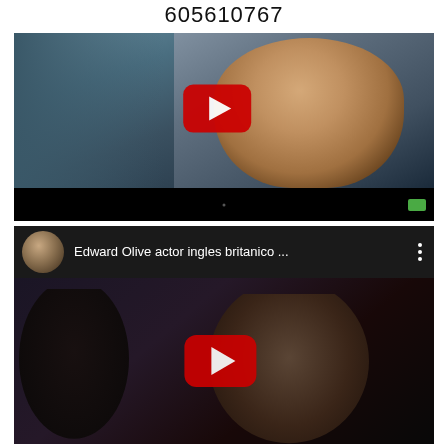605610767
[Figure (screenshot): YouTube video thumbnail showing a man in a dark suit looking downward, with a YouTube play button overlay. Black bar at bottom with a green CC icon.]
[Figure (screenshot): YouTube video player showing title 'Edward Olive actor ingles britanico ...' with a circular thumbnail of a man on the left, and a scene with two people visible behind the play button overlay.]